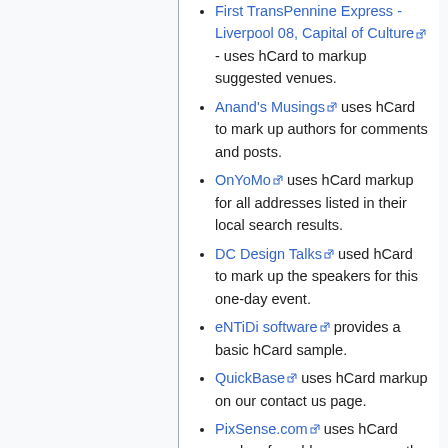First TransPennine Express - Liverpool 08, Capital of Culture [ext] - uses hCard to markup suggested venues.
Anand's Musings [ext] uses hCard to mark up authors for comments and posts.
OnYoMo [ext] uses hCard markup for all addresses listed in their local search results.
DC Design Talks [ext] used hCard to mark up the speakers for this one-day event.
eNTiDi software [ext] provides a basic hCard sample.
QuickBase [ext] uses hCard markup on our contact us page.
PixSense.com [ext] uses hCard markup for addresses across the PixSense website.